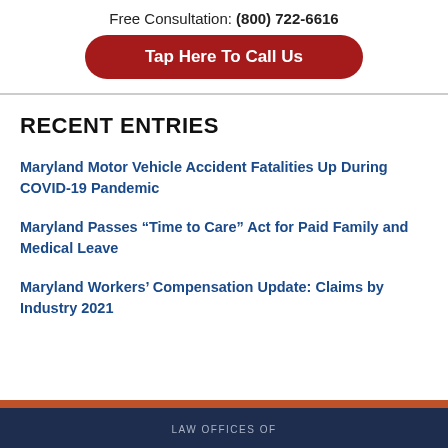Free Consultation: (800) 722-6616
Tap Here To Call Us
RECENT ENTRIES
Maryland Motor Vehicle Accident Fatalities Up During COVID-19 Pandemic
Maryland Passes “Time to Care” Act for Paid Family and Medical Leave
Maryland Workers’ Compensation Update: Claims by Industry 2021
LAW OFFICES OF